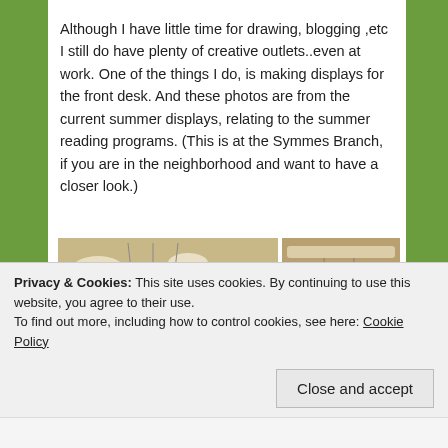Although I have little time for drawing, blogging ,etc I still do have plenty of creative outlets..even at work. One of the things I do, is making displays for the front desk. And these photos are from the current summer displays, relating to the summer reading programs. (This is at the Symmes Branch, if you are in the neighborhood and want to have a closer look.)
[Figure (photo): Two photos side by side showing teddy bear displays suspended over mini beds in a library setting. Left photo shows a larger teddy bear with glasses and bow tie standing over a bed with sheets, with library ceiling lights in background. Right photo shows a smaller teddy bear on a similar bed display from farther away.]
Privacy & Cookies: This site uses cookies. By continuing to use this website, you agree to their use.
To find out more, including how to control cookies, see here: Cookie Policy
Close and accept